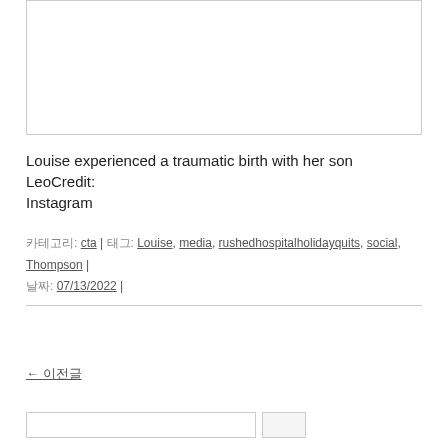[Figure (other): White rectangular image placeholder box with border]
Louise experienced a traumatic birth with her son LeoCredit: Instagram
카테고리: cta | 태그: Louise, media, rushedhospitalholidayquits, social, Thompson | 날짜: 07/13/2022 |
← 이전글
[search box]